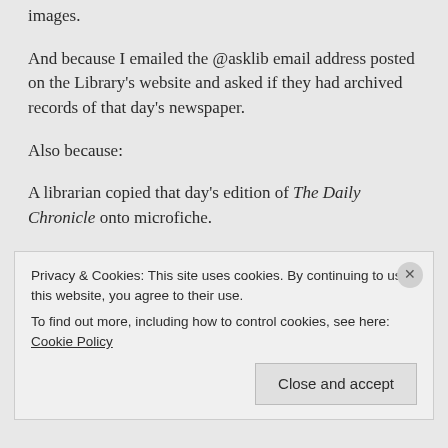images.
And because I emailed the @asklib email address posted on the Library's website and asked if they had archived records of that day's newspaper.
Also because:
A librarian copied that day's edition of The Daily Chronicle onto microfiche.
Another librarian preserved a print issue of the March 20, 1944, edition of The Daily Chronicle.
A local publisher printed a daily newspaper in Centralia, Washington.
Privacy & Cookies: This site uses cookies. By continuing to use this website, you agree to their use.
To find out more, including how to control cookies, see here: Cookie Policy
Close and accept